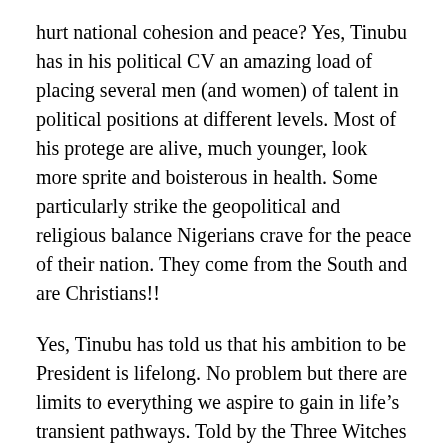hurt national cohesion and peace? Yes, Tinubu has in his political CV an amazing load of placing several men (and women) of talent in political positions at different levels. Most of his protege are alive, much younger, look more sprite and boisterous in health. Some particularly strike the geopolitical and religious balance Nigerians crave for the peace of their nation. They come from the South and are Christians!!
Yes, Tinubu has told us that his ambition to be President is lifelong. No problem but there are limits to everything we aspire to gain in life's transient pathways. Told by the Three Witches that he would be Thane of Cawdor and it came to pass, Macbeth drove the ambition to be King over Scotland to the point of execution of Duncan. But even his more ambitious wife, Lady Macbeth, that prodded him on left a caveat:
“Thou wouldst be great